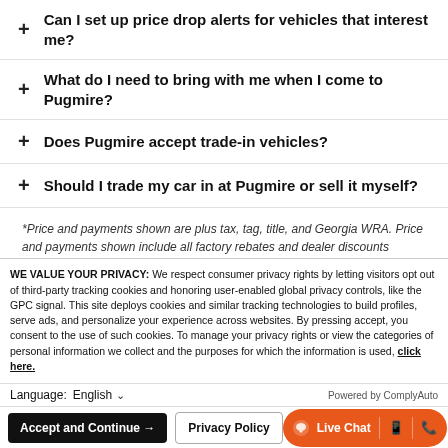+ Can I set up price drop alerts for vehicles that interest me?
+ What do I need to bring with me when I come to Pugmire?
+ Does Pugmire accept trade-in vehicles?
+ Should I trade my car in at Pugmire or sell it myself?
*Price and payments shown are plus tax, tag, title, and Georgia WRA. Price and payments shown include all factory rebates and dealer discounts applicable to the general public. Price subject to change. Art for illustration purposes only. Must choose from dealer stock to receive prices shown. Must bring a copy of this in order to receive advertised internet price. Payments shown are with
WE VALUE YOUR PRIVACY: We respect consumer privacy rights by letting visitors opt out of third-party tracking cookies and honoring user-enabled global privacy controls, like the GPC signal. This site deploys cookies and similar tracking technologies to build profiles, serve ads, and personalize your experience across websites. By pressing accept, you consent to the use of such cookies. To manage your privacy rights or view the categories of personal information we collect and the purposes for which the information is used, click here.
Language: English
Powered by ComplyAuto
Accept and Continue → Privacy Policy Live Chat